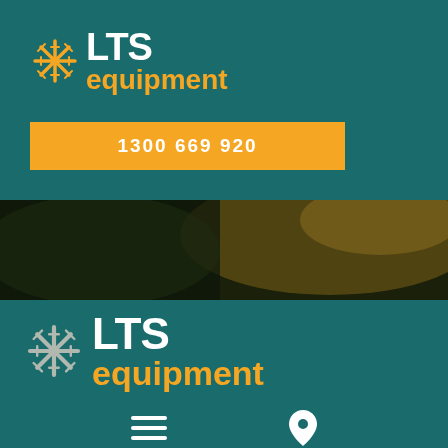[Figure (logo): LTS Equipment logo with star/snowflake icon, white LTS text and orange equipment text on teal background]
1300 669 920
[Figure (photo): Aerial/landscape photo band showing dark foliage and agricultural field at night or dusk]
[Figure (logo): LTS Equipment logo repeated, larger version with star/snowflake icon on teal background]
[Figure (other): Hamburger menu icon (three horizontal lines) and location pin icon at bottom of page]